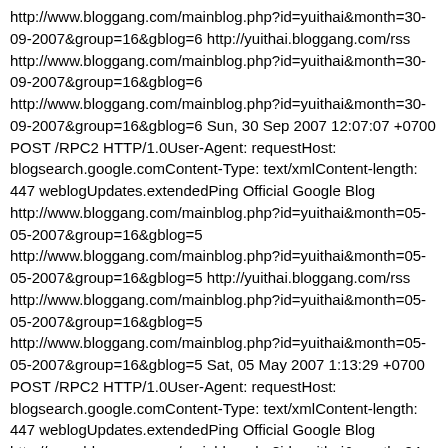http://www.bloggang.com/mainblog.php?id=yuithai&month=30-09-2007&group=16&gblog=6 http://yuithai.bloggang.com/rss http://www.bloggang.com/mainblog.php?id=yuithai&month=30-09-2007&group=16&gblog=6 http://www.bloggang.com/mainblog.php?id=yuithai&month=30-09-2007&group=16&gblog=6 Sun, 30 Sep 2007 12:07:07 +0700 POST /RPC2 HTTP/1.0User-Agent: requestHost: blogsearch.google.comContent-Type: text/xmlContent-length: 447 weblogUpdates.extendedPing Official Google Blog http://www.bloggang.com/mainblog.php?id=yuithai&month=05-05-2007&group=16&gblog=5 http://www.bloggang.com/mainblog.php?id=yuithai&month=05-05-2007&group=16&gblog=5 http://yuithai.bloggang.com/rss http://www.bloggang.com/mainblog.php?id=yuithai&month=05-05-2007&group=16&gblog=5 http://www.bloggang.com/mainblog.php?id=yuithai&month=05-05-2007&group=16&gblog=5 Sat, 05 May 2007 1:13:29 +0700 POST /RPC2 HTTP/1.0User-Agent: requestHost: blogsearch.google.comContent-Type: text/xmlContent-length: 447 weblogUpdates.extendedPing Official Google Blog http://www.bloggang.com/mainblog.php?id=yuithai&month=04-05-2007&group=16&gblog=4 http://www.bloggang.com/mainblog.php?id=yuithai&month=04-05-2007&group=16&gblog=4 http://yuithai.bloggang.com/rss http://www.bloggang.com/mainblog.php?id=yuithai&month=04-05-2007&group=16&gblog=4